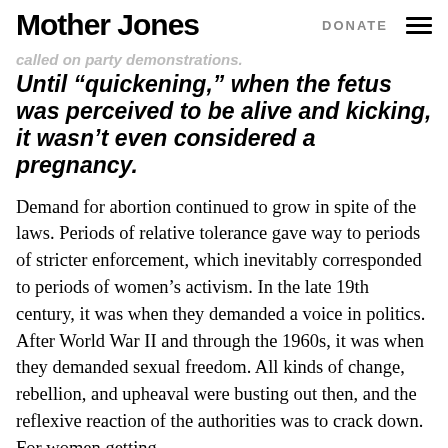Mother Jones   DONATE
Until “quickening,” when the fetus was perceived to be alive and kicking, it wasn’t even considered a pregnancy.
Demand for abortion continued to grow in spite of the laws. Periods of relative tolerance gave way to periods of stricter enforcement, which inevitably corresponded to periods of women’s activism. In the late 19th century, it was when they demanded a voice in politics. After World War II and through the 1960s, it was when they demanded sexual freedom. All kinds of change, rebellion, and upheaval were busting out then, and the reflexive reaction of the authorities was to crack down. For women getting